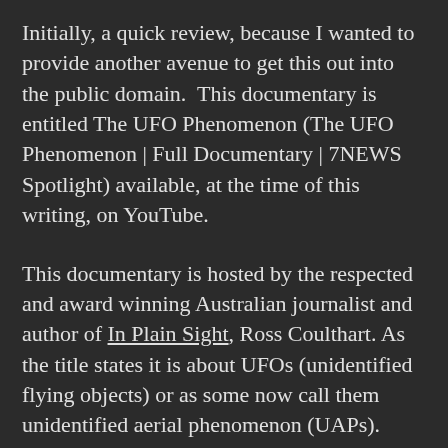Initially, a quick review, because I wanted to provide another avenue to get this out into the public domain.  This documentary is entitled The UFO Phenomenon (The UFO Phenomenon | Full Documentary | 7NEWS Spotlight) available, at the time of this writing, on YouTube.
This documentary is hosted by the respected and award winning Australian journalist and author of In Plain Sight, Ross Coulthart. As the title states it is about UFOs (unidentified flying objects) or as some now call them unidentified aerial phenomenon (UAPs). Let's not forget the unidentified submerged